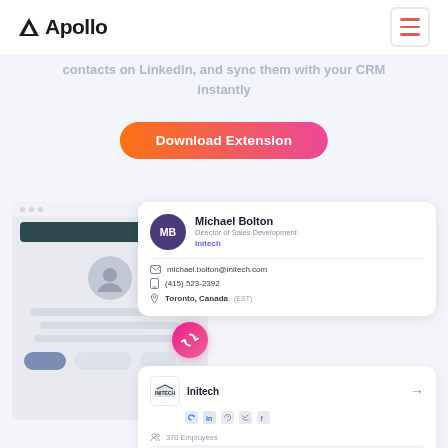[Figure (logo): Apollo logo with triangle icon and wordmark]
contacts on LinkedIn, and sync them with your CRM instantly
Download Extension
[Figure (screenshot): Browser mockup showing a LinkedIn profile with a sync button overlay, alongside a contact card for Michael Bolton, Director of Sales Development at Initech, with email michael.bolton@initech.com, phone (415) 523-2392, location Toronto, Canada (EST), and a company card for Initech showing 370 Employees]